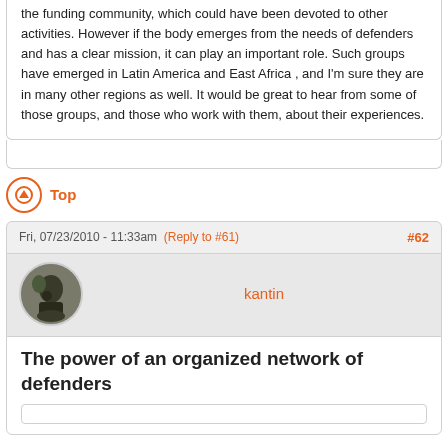the funding community, which could have been devoted to other activities. However if the body emerges from the needs of defenders and has a clear mission, it can play an important role. Such groups have emerged in Latin America and East Africa , and I'm sure they are in many other regions as well. It would be great to hear from some of those groups, and those who work with them, about their experiences.
Top
Fri, 07/23/2010 - 11:33am (Reply to #61) #62
kantin
The power of an organized network of defenders